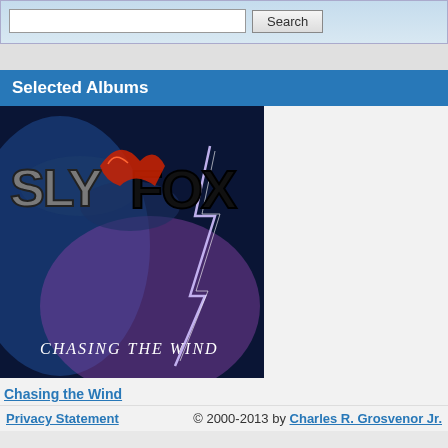[Figure (screenshot): Search box with text input field and Search button, light blue gradient background]
Selected Albums
[Figure (photo): Album cover art for Sly Fox 'Chasing the Wind' — dark stormy sky with lightning, large stylized text SLYFOX at top, fox illustration, text 'Chasing the Wind' at bottom]
Chasing the Wind
Privacy Statement   © 2000-2013 by Charles R. Grosvenor Jr.